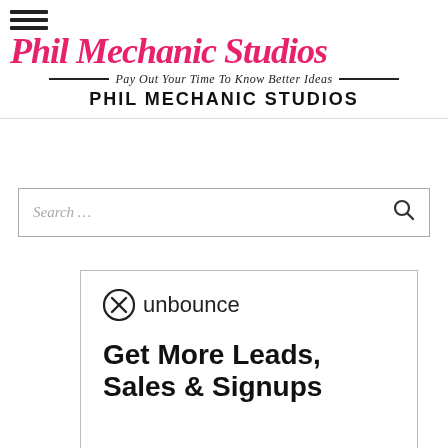Phil Mechanic Studios — Pay Out Your Time To Know Better Ideas — PHIL MECHANIC STUDIOS
Search ...
[Figure (screenshot): Unbounce advertisement card with logo and headline: Get More Leads, Sales & Signups]